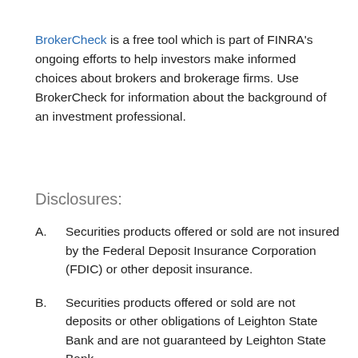BrokerCheck is a free tool which is part of FINRA's ongoing efforts to help investors make informed choices about brokers and brokerage firms. Use BrokerCheck for information about the background of an investment professional.
Disclosures:
A.  Securities products offered or sold are not insured by the Federal Deposit Insurance Corporation (FDIC) or other deposit insurance.
B.  Securities products offered or sold are not deposits or other obligations of Leighton State Bank and are not guaranteed by Leighton State Bank.
C.  Securities products offered or sold are subject to